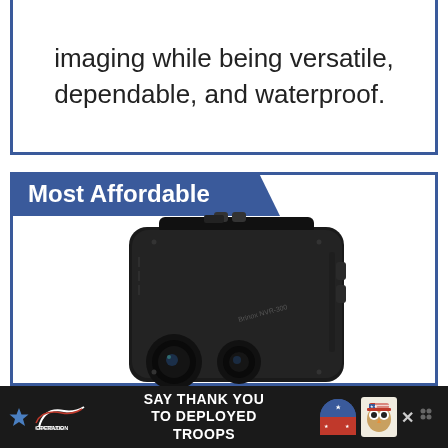imaging while being versatile, dependable, and waterproof.
Most Affordable
[Figure (photo): A compact black night vision binocular device (Brinox NVR-300) shown at an angle on a white background, with lens caps, buttons on top, and a wrist strap loop at the bottom.]
SAY THANK YOU TO DEPLOYED TROOPS